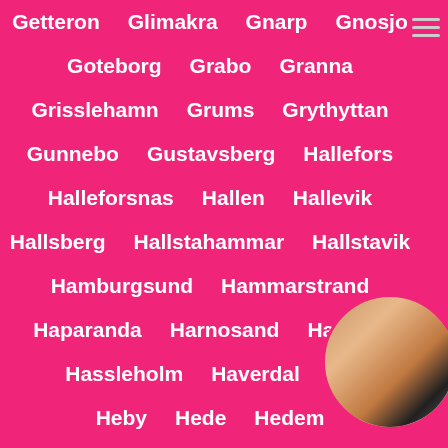Getteron
Glimakra
Gnarp
Gnosjo
Goteborg
Grabo
Granna
Grisslehamn
Grums
Grythyttan
Gunnebo
Gustavsberg
Hallefors
Halleforsnas
Hallen
Hallevik
Hallsberg
Hallstahammar
Hallstavik
Hamburgsund
Hammarstrand
Haparanda
Harnosand
Hassela
Hassleholm
Haverdal
Ha...
Heby
Hede
Hedem...
Helsingborg
Hemse
Herrljunga
[Figure (photo): Circular cropped photo in bottom right corner, partially overlapping text]